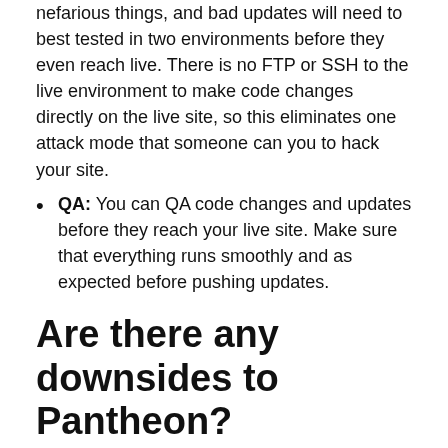nefarious things, and bad updates will need to best tested in two environments before they even reach live. There is no FTP or SSH to the live environment to make code changes directly on the live site, so this eliminates one attack mode that someone can you to hack your site.
QA: You can QA code changes and updates before they reach your live site. Make sure that everything runs smoothly and as expected before pushing updates.
Are there any downsides to Pantheon?
Due to how Pantheon works, live environments do not have static IP addresses. If you have a website that needs to have a static IP address, then Pantheon is not